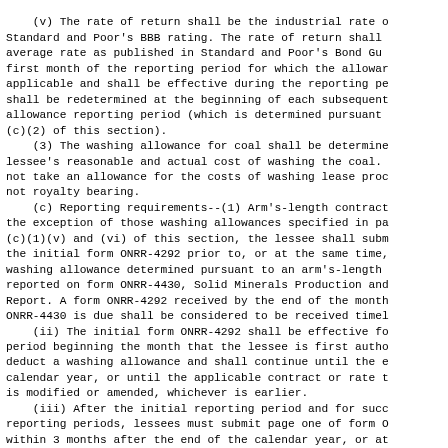(v) The rate of return shall be the industrial rate of Standard and Poor's BBB rating. The rate of return shall average rate as published in Standard and Poor's Bond Gu first month of the reporting period for which the allowar applicable and shall be effective during the reporting pe shall be redetermined at the beginning of each subsequent allowance reporting period (which is determined pursuant (c)(2) of this section).
    (3) The washing allowance for coal shall be determine lessee's reasonable and actual cost of washing the coal. not take an allowance for the costs of washing lease proc not royalty bearing.
    (c) Reporting requirements--(1) Arm's-length contract the exception of those washing allowances specified in pa (c)(1)(v) and (vi) of this section, the lessee shall subm the initial form ONRR-4292 prior to, or at the same time, washing allowance determined pursuant to an arm's-length reported on form ONRR-4430, Solid Minerals Production and Report. A form ONRR-4292 received by the end of the month ONRR-4430 is due shall be considered to be received timel
    (ii) The initial form ONRR-4292 shall be effective fo period beginning the month that the lessee is first autho deduct a washing allowance and shall continue until the e calendar year, or until the applicable contract or rate t is modified or amended, whichever is earlier.
    (iii) After the initial reporting period and for succ reporting periods, lessees must submit page one of form O within 3 months after the end of the calendar year, or at applicable contract or rate terminates or is modified or whichever is earlier, unless ONRR approves a longer perio which period the lessee shall continue to use the allowa